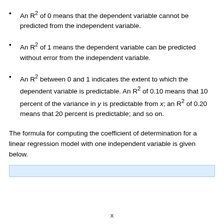An R² of 0 means that the dependent variable cannot be predicted from the independent variable.
An R² of 1 means the dependent variable can be predicted without error from the independent variable.
An R² between 0 and 1 indicates the extent to which the dependent variable is predictable. An R² of 0.10 means that 10 percent of the variance in y is predictable from x; an R² of 0.20 means that 20 percent is predictable; and so on.
The formula for computing the coefficient of determination for a linear regression model with one independent variable is given below.
[Figure (other): A light blue shaded rectangular box, presumably placeholder for a formula.]
x